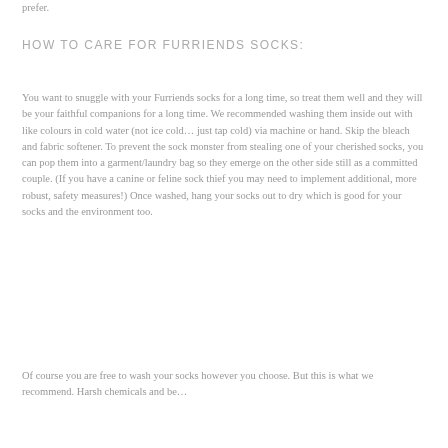prefer.
HOW TO CARE FOR FURRIENDS SOCKS:
You want to snuggle with your Furriends socks for a long time, so treat them well and they will be your faithful companions for a long time. We recommended washing them inside out with like colours in cold water (not ice cold… just tap cold) via machine or hand. Skip the bleach and fabric softener. To prevent the sock monster from stealing one of your cherished socks, you can pop them into a garment/laundry bag so they emerge on the other side still as a committed couple. (If you have a canine or feline sock thief you may need to implement additional, more robust, safety measures!) Once washed, hang your socks out to dry which is good for your socks and the environment too.
Of course you are free to wash your socks however you choose. But this is what we recommend. Harsh chemicals and be…